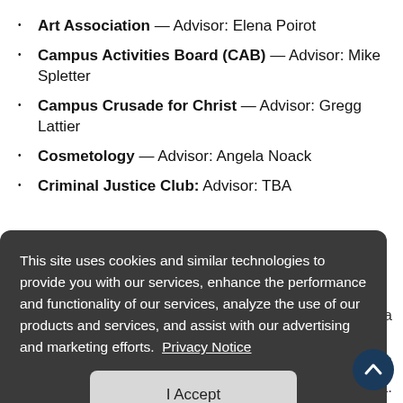Art Association — Advisor: Elena Poirot
Campus Activities Board (CAB) — Advisor: Mike Spletter
Campus Crusade for Christ — Advisor: Gregg Lattier
Cosmetology — Advisor: Angela Noack
Criminal Justice Club: Advisor: TBA
[Figure (other): Cookie consent overlay popup with dark background, text about cookies and privacy, a Privacy Notice link, and an I Accept button. A scroll-to-top circular button is visible in the bottom right corner.]